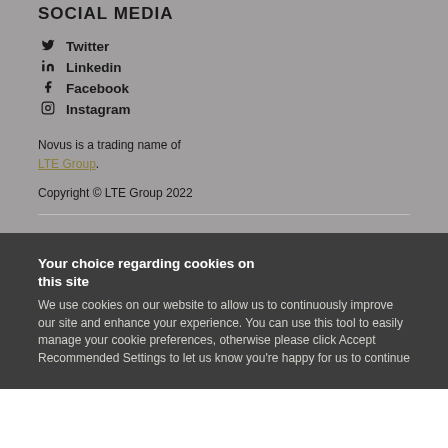SOCIAL MEDIA
Twitter
Linkedin
Facebook
Instagram
Novus is a trading name of LTE Group.
Copyright © LTE Group 2022
Your choice regarding cookies on this site
We use cookies on our website to allow us to continuously improve our site and enhance your experience. You can use this tool to easily manage your cookie preferences, otherwise please click Accept Recommended Settings to let us know you're happy for us to continue